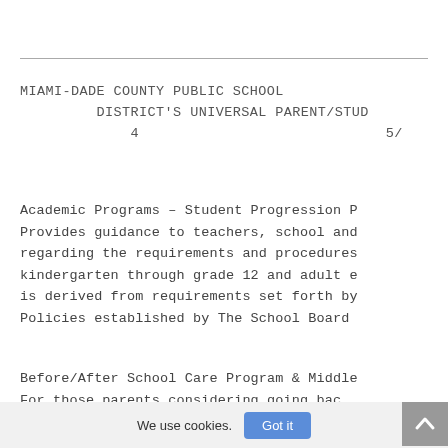MIAMI-DADE COUNTY PUBLIC SCHOOL DISTRICT'S UNIVERSAL PARENT/STUD 4 5/
Academic Programs – Student Progression P Provides guidance to teachers, school and regarding the requirements and procedures kindergarten through grade 12 and adult e is derived from requirements set forth by Policies established by The School Board
Before/After School Care Program & Middle For those parents considering going bac
We use cookies. Got it